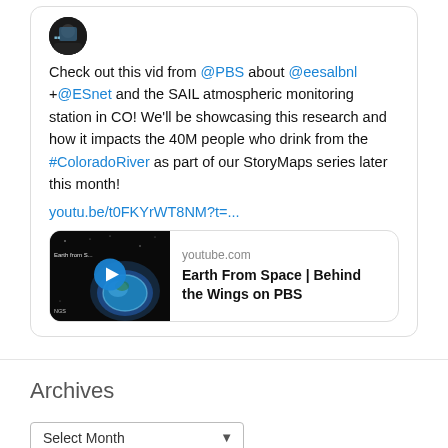Check out this vid from @PBS about @eesalbnl +@ESnet and the SAIL atmospheric monitoring station in CO! We'll be showcasing this research and how it impacts the 40M people who drink from the #ColoradoRiver as part of our StoryMaps series later this month!
youtu.be/t0FKYrWT8NM?t=...
[Figure (screenshot): YouTube video thumbnail showing Earth from space with a play button overlay, titled 'Earth From Space | Behind the Wings on PBS' from youtube.com]
Archives
Select Month (dropdown)